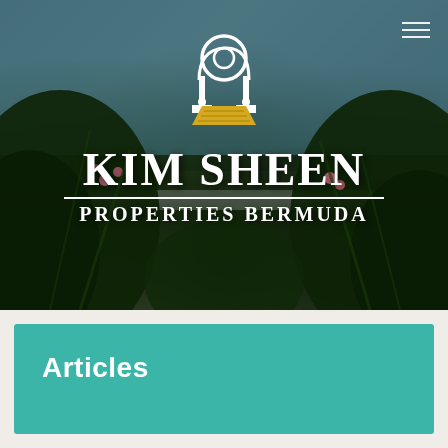[Figure (logo): Kim Sheen Properties Bermuda logo with keyhole/arch architectural symbol above company name, overlaid on a dark photo of tropical foliage with teal sky background]
Articles